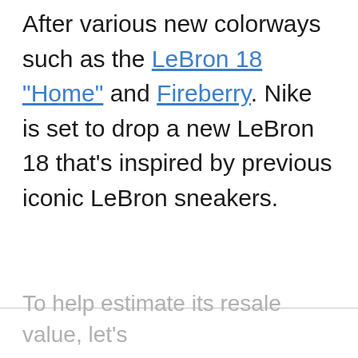After various new colorways such as the LeBron 18 "Home" and Fireberry. Nike is set to drop a new LeBron 18 that's inspired by previous iconic LeBron sneakers.
To help estimate its resale value, let's